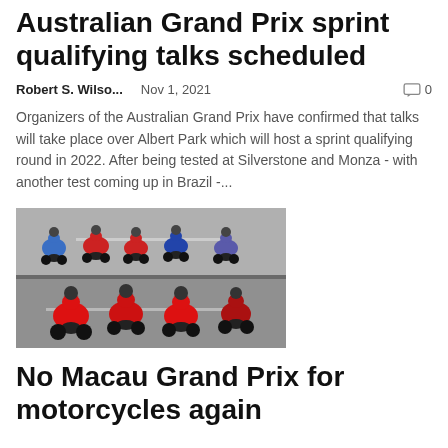Australian Grand Prix sprint qualifying talks scheduled
Robert S. Wilso...   Nov 1, 2021   💬 0
Organizers of the Australian Grand Prix have confirmed that talks will take place over Albert Park which will host a sprint qualifying round in 2022. After being tested at Silverstone and Monza - with another test coming up in Brazil -...
[Figure (photo): Multiple motorcycle racers on a road circuit, racing closely together. Two rows of bikes visible.]
No Macau Grand Prix for motorcycles again